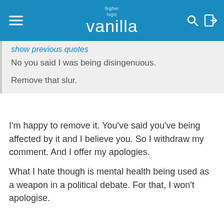higher logic vanilla
show previous quotes
No you said I was being disingenuous.

Remove that slur.
I'm happy to remove it. You've said you've being affected by it and I believe you. So I withdraw my comment. And I offer my apologies.
What I hate though is mental health being used as a weapon in a political debate. For that, I won't apologise.
RobD Posts: 57,456
August 2021